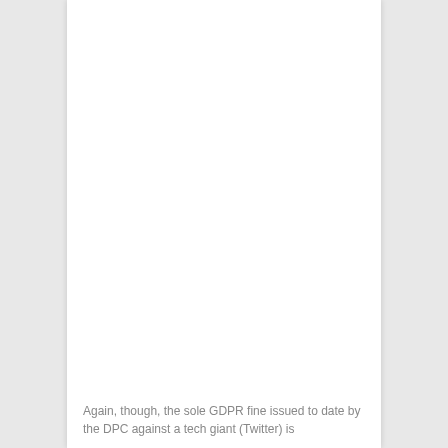Again, though, the sole GDPR fine issued to date by the DPC against a tech giant (Twitter) is